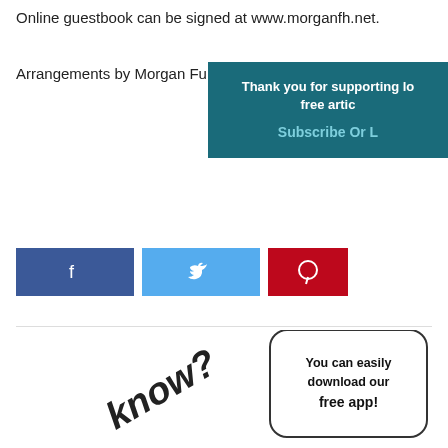Online guestbook can be signed at www.morganfh.net.
Arrangements by Morgan Funer…
[Figure (infographic): Teal overlay box with text: 'Thank you for supporting lo… free artic… Subscribe Or L…']
[Figure (infographic): Social share buttons: Facebook (blue), Twitter (light blue), Pinterest (red)]
Previous Post
Liam James Craft
Next Post
Berea College names students to Dean's List
[Figure (infographic): Bottom promo area with rotated 'know?' text and app download bubble saying 'You can easily download our free app!']